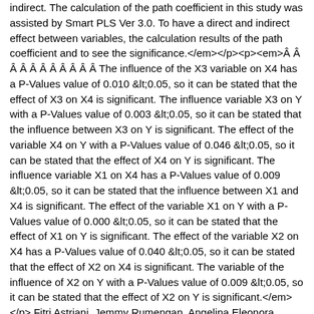indirect. The calculation of the path coefficient in this study was assisted by Smart PLS Ver 3.0. To have a direct and indirect effect between variables, the calculation results of the path coefficient and to see the significance.</em></p><p><em>Â Â Â Â Â Â Â Â Â Â Â The influence of the X3 variable on X4 has a P-Values value of 0.010 &lt;0.05, so it can be stated that the effect of X3 on X4 is significant. The influence variable X3 on Y with a P-Values value of 0.003 &lt;0.05, so it can be stated that the influence between X3 on Y is significant. The effect of the variable X4 on Y with a P-Values value of 0.046 &lt;0.05, so it can be stated that the effect of X4 on Y is significant. The influence variable X1 on X4 has a P-Values value of 0.009 &lt;0.05, so it can be stated that the influence between X1 and X4 is significant. The effect of the variable X1 on Y with a P-Values value of 0.000 &lt;0.05, so it can be stated that the effect of X1 on Y is significant. The effect of the variable X2 on X4 has a P-Values value of 0.040 &lt;0.05, so it can be stated that the effect of X2 on X4 is significant. The variable of the influence of X2 on Y with a P-Values value of 0.009 &lt;0.05, so it can be stated that the effect of X2 on Y is significant.</em></p> Fitri Astriani, Jemmy Rumengan, Angelina Eleonora Rumengan, Tommy Arby Rumengan Copyright (c) 2021 Fitri Astriani, Jemmy Rumengan, Angelina Eleonora Rumengan, Tommy Arby Rumengan http://ejurnal.univbatam.ac.id/index.php/Manajemen/article/view/783 Thu, 09 Sep 2021 00:00:00 +0000